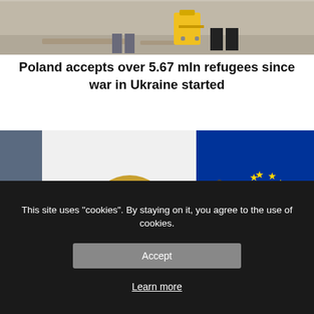[Figure (photo): Top portion of a photo showing people with luggage, including a yellow suitcase, on a street]
Poland accepts over 5.67 mln refugees since war in Ukraine started
[Figure (photo): A woman with blonde hair and glasses wearing a blue blazer stands in front of a Polish flag and EU flag at what appears to be an official press conference setting]
This site uses "cookies". By staying on it, you agree to the use of cookies.
Accept
Learn more